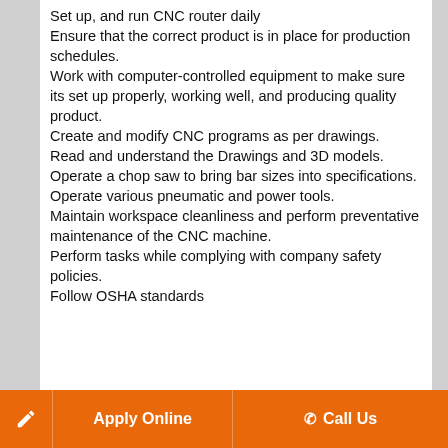Set up, and run CNC router daily
Ensure that the correct product is in place for production schedules.
Work with computer-controlled equipment to make sure its set up properly, working well, and producing quality product.
Create and modify CNC programs as per drawings.
Read and understand the Drawings and 3D models.
Operate a chop saw to bring bar sizes into specifications.
Operate various pneumatic and power tools.
Maintain workspace cleanliness and perform preventative maintenance of the CNC machine.
Perform tasks while complying with company safety policies.
Follow OSHA standards
Apply Online   Call Us